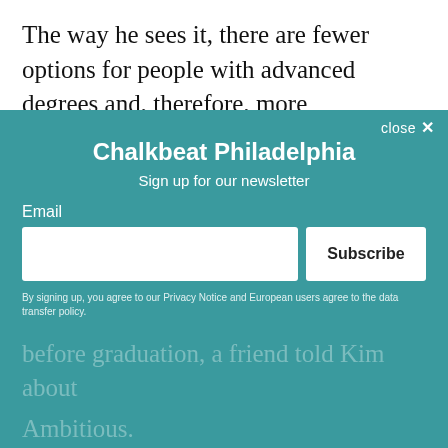The way he sees it, there are fewer options for people with advanced degrees and, therefore, more competition for every job. The winner gets the job and can pay off the debt; the loser just gets the debt.
As for the military, “it hit me,” he said. “I would have been in the infantry, which is the most dangerous job. I didn’t want to go and leave my family. I have brothers and I want to spend time with them.
[Figure (other): Newsletter signup popup overlay for Chalkbeat Philadelphia with email input field and Subscribe button on teal background]